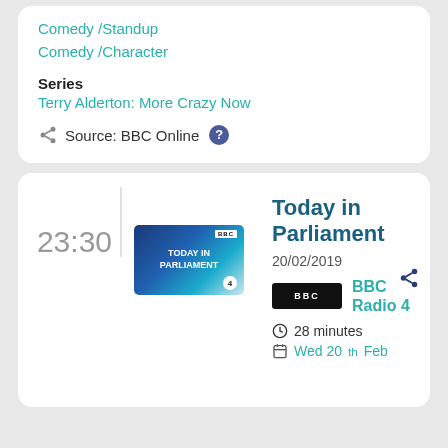Comedy / Standup
Comedy / Character
Series
Terry Alderton: More Crazy Now
Source: BBC Online
23:30
[Figure (screenshot): Today in Parliament BBC Radio 4 programme thumbnail with blue background and BBC logo]
Today in Parliament
20/02/2019
BBC Radio 4
28 minutes
Wed 20th Feb